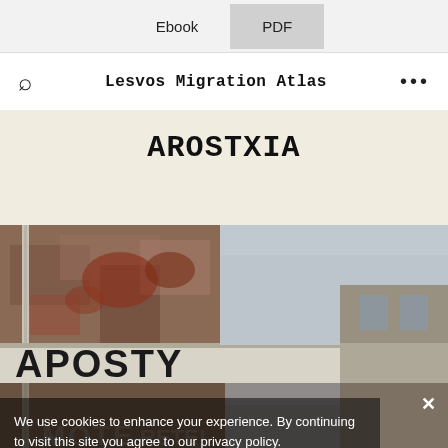Ebook  PDF
Lesvos Migration Atlas
AROSTXIA
[Figure (photo): Photograph of a weathered building facade with hand-painted letters reading 'APOSTY' (partially visible), showing peeling paint and aged brick, with a cloudy sky visible in the background. The image has a semi-transparent dark cookie consent banner overlay at the bottom.]
We use cookies to enhance your experience. By continuing to visit this site you agree to our privacy policy.